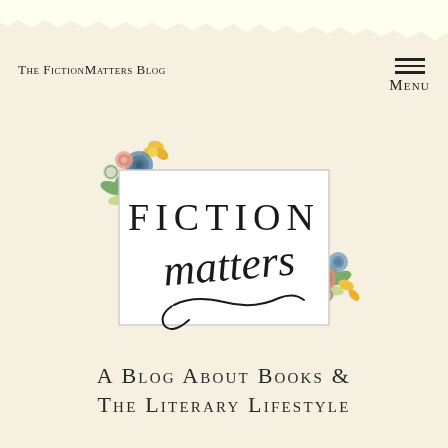The FictionMatters Blog
Menu
[Figure (logo): Fiction Matters blog logo: rectangular frame with 'FICTION' in serif capitals and 'matters' in cursive script, decorated with floral illustrations in pink, yellow, blue, and green at the corners]
A Blog About Books & The Literary Lifestyle